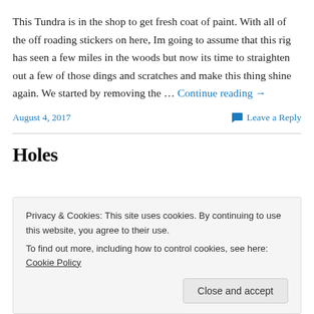This Tundra is in the shop to get fresh coat of paint. With all of the off roading stickers on here, Im going to assume that this rig has seen a few miles in the woods but now its time to straighten out a few of those dings and scratches and make this thing shine again. We started by removing the … Continue reading →
August 4, 2017
Leave a Reply
Holes
Privacy & Cookies: This site uses cookies. By continuing to use this website, you agree to their use.
To find out more, including how to control cookies, see here: Cookie Policy